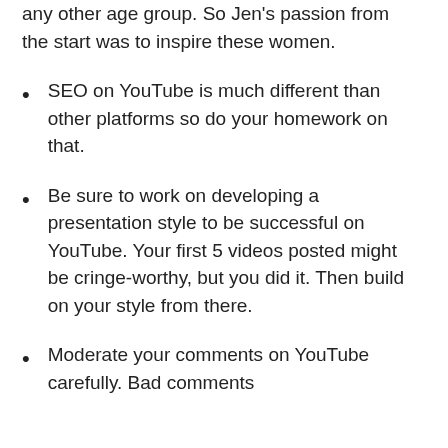any other age group. So Jen's passion from the start was to inspire these women.
SEO on YouTube is much different than other platforms so do your homework on that.
Be sure to work on developing a presentation style to be successful on YouTube. Your first 5 videos posted might be cringe-worthy, but you did it. Then build on your style from there.
Moderate your comments on YouTube carefully. Bad comments